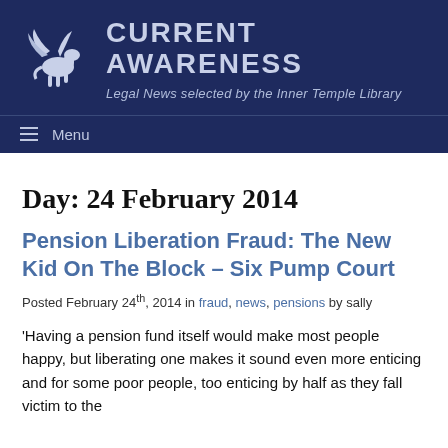[Figure (logo): Current Awareness website header with Pegasus logo, site title 'CURRENT AWARENESS', and subtitle 'Legal News selected by the Inner Temple Library' on a dark navy background]
Menu
Day: 24 February 2014
Pension Liberation Fraud: The New Kid On The Block – Six Pump Court
Posted February 24th, 2014 in fraud, news, pensions by sally
'Having a pension fund itself would make most people happy, but liberating one makes it sound even more enticing and for some poor people, too enticing by half as they fall victim to the